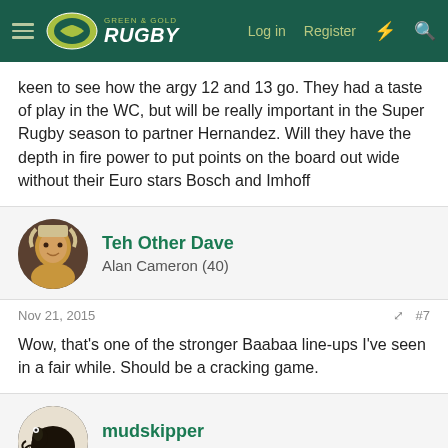Green & Gold Rugby — Log in | Register
keen to see how the argy 12 and 13 go. They had a taste of play in the WC, but will be really important in the Super Rugby season to partner Hernandez. Will they have the depth in fire power to put points on the board out wide without their Euro stars Bosch and Imhoff
Teh Other Dave
Alan Cameron (40)
Nov 21, 2015
#7
Wow, that's one of the stronger Baabaa line-ups I've seen in a fair while. Should be a cracking game.
mudskipper
Colin Windon (37)